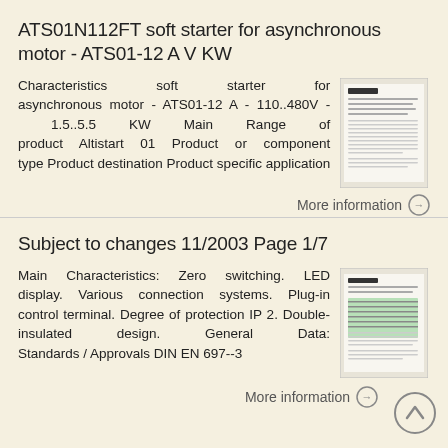ATS01N112FT soft starter for asynchronous motor - ATS01-12 A V KW
Characteristics soft starter for asynchronous motor - ATS01-12 A - 110..480V - 1.5..5.5 KW Main Range of product Altistart 01 Product or component type Product destination Product specific application
[Figure (photo): Thumbnail image of a document page showing the ATS01 product datasheet]
More information →
Subject to changes 11/2003 Page 1/7
Main Characteristics: Zero switching. LED display. Various connection systems. Plug-in control terminal. Degree of protection IP 2. Double-insulated design. General Data: Standards / Approvals DIN EN 697--3
[Figure (photo): Thumbnail image of a document page showing the ATS01 datasheet with green highlighted table]
More information →